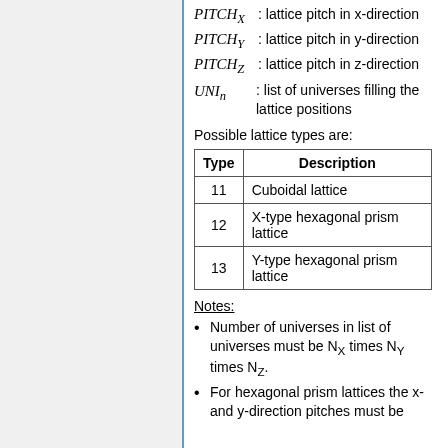Possible lattice types are:
| Type | Description |
| --- | --- |
| 11 | Cuboidal lattice |
| 12 | X-type hexagonal prism lattice |
| 13 | Y-type hexagonal prism lattice |
Notes:
Number of universes in list of universes must be N_X times N_Y times N_Z.
For hexagonal prism lattices the x- and y-direction pitches must be